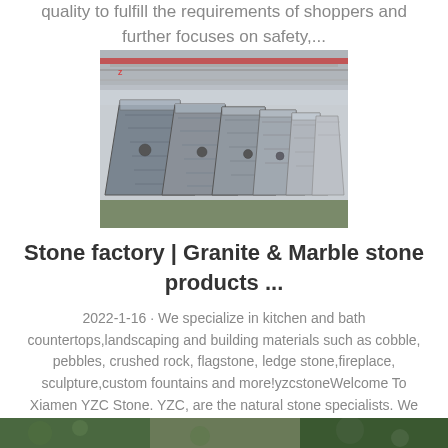quality to fulfill the requirements of shoppers and further focuses on safety,...
[Figure (photo): Industrial factory interior showing rows of large metal fabricated steel structures/trays stacked and arranged on a factory floor, with overhead cranes visible in the background.]
Stone factory | Granite & Marble stone products ...
2022-1-16 · We specialize in kitchen and bath countertops,landscaping and building materials such as cobble, pebbles, crushed rock, flagstone, ledge stone,fireplace, sculpture,custom fountains and more!yzcstoneWelcome To Xiamen YZC Stone. YZC, are the natural stone specialists. We are a family operated business and ou...
[Figure (photo): Partial view of another image at the bottom of the page, appears to be an outdoor or garden scene with green vegetation.]